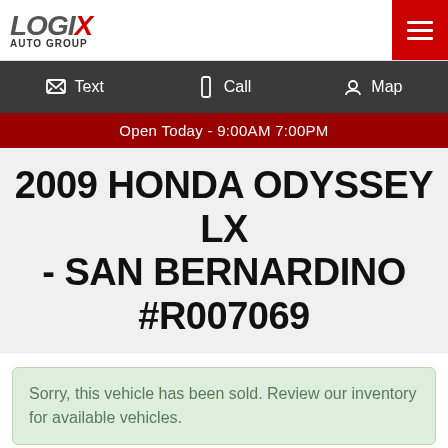LOGIX AUTO GROUP
Text  Call  Map
Open Today - 9:00AM 7:00PM
2009 HONDA ODYSSEY LX - SAN BERNARDINO #R007069
Sorry, this vehicle has been sold. Review our inventory for available vehicles.
Body: SPORTS VAN